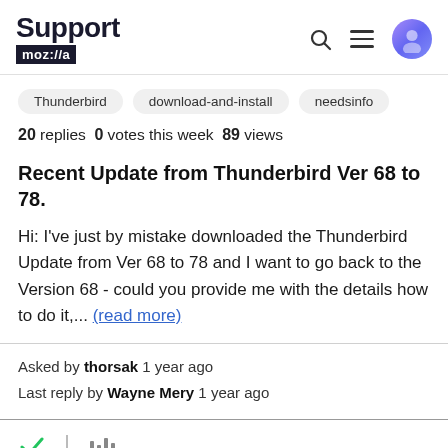Support moz://a
Thunderbird
download-and-install
needsinfo
20 replies  0 votes this week  89 views
Recent Update from Thunderbird Ver 68 to 78.
Hi: I've just by mistake downloaded the Thunderbird Update from Ver 68 to 78 and I want to go back to the Version 68 - could you provide me with the details how to do it,... (read more)
Asked by thorsak 1 year ago
Last reply by Wayne Mery 1 year ago